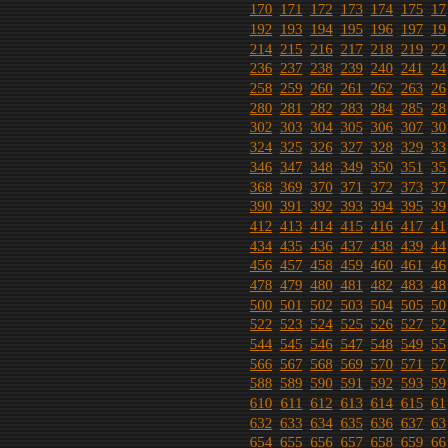[Figure (other): Dark textured background with a grid of sequential numbers displayed in orange/golden underlined text on the right half of the page. Numbers run from 170 to 703 incrementing by 22 per row, with 7 columns visible (partially cut off on right).]